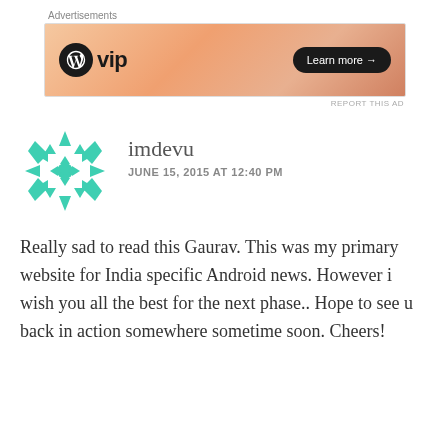Advertisements
[Figure (other): WordPress VIP advertisement banner with orange gradient background and Learn more button]
REPORT THIS AD
imdevu
JUNE 15, 2015 AT 12:40 PM
Really sad to read this Gaurav. This was my primary website for India specific Android news. However i wish you all the best for the next phase.. Hope to see u back in action somewhere sometime soon. Cheers!